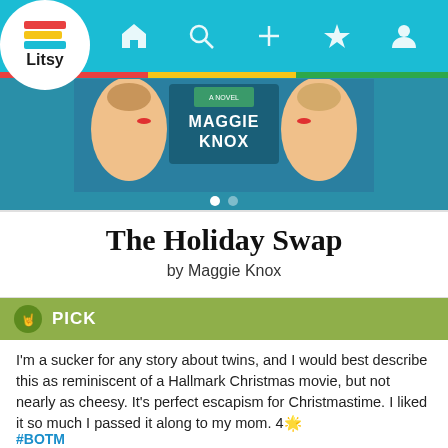[Figure (screenshot): Litsy app navigation bar with logo and icons for home, search, add, activity, and profile]
[Figure (illustration): Book cover for The Holiday Swap by Maggie Knox showing two women facing each other on a teal background]
The Holiday Swap
by Maggie Knox
PICK
I'm a sucker for any story about twins, and I would best describe this as reminiscent of a Hallmark Christmas movie, but not nearly as cheesy. It's perfect escapism for Christmastime. I liked it so much I passed it along to my mom. 4🌟
#BOTM